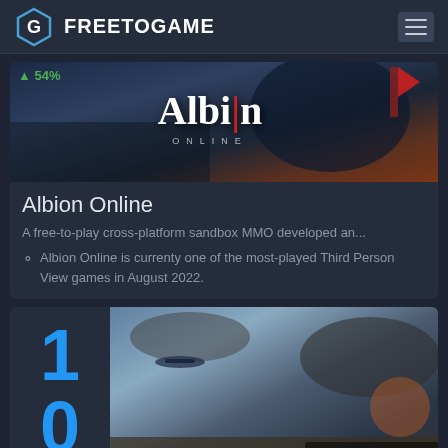FREETOGAME
[Figure (screenshot): Albion Online game banner image with fantasy battle scene]
Albion Online
A free-to-play cross-platform sandbox MMO developed an...
Albion Online is currenty one of the most-played Third Person View games in August 2022.
[Figure (screenshot): Enlisted WWII game banner image with soldier in battle scene]
▼ 28%